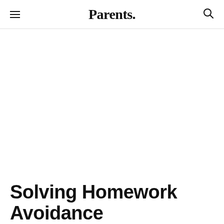Parents.
Ad
Solving Homework Avoidance